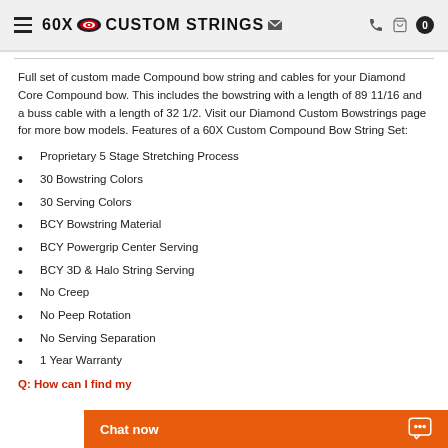60X Custom Strings
Full set of custom made Compound bow string and cables for your Diamond Core Compound bow. This includes the bowstring with a length of 89 11/16 and a buss cable with a length of 32 1/2. Visit our Diamond Custom Bowstrings page for more bow models. Features of a 60X Custom Compound Bow String Set:
Proprietary 5 Stage Stretching Process
30 Bowstring Colors
30 Serving Colors
BCY Bowstring Material
BCY Powergrip Center Serving
BCY 3D & Halo String Serving
No Creep
No Peep Rotation
No Serving Separation
1 Year Warranty
Q: How can I find my...